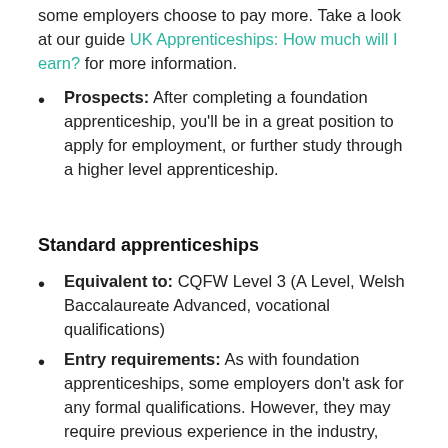some employers choose to pay more. Take a look at our guide UK Apprenticeships: How much will I earn? for more information.
Prospects: After completing a foundation apprenticeship, you'll be in a great position to apply for employment, or further study through a higher level apprenticeship.
Standard apprenticeships
Equivalent to: CQFW Level 3 (A Level, Welsh Baccalaureate Advanced, vocational qualifications)
Entry requirements: As with foundation apprenticeships, some employers don't ask for any formal qualifications. However, they may require previous experience in the industry, such